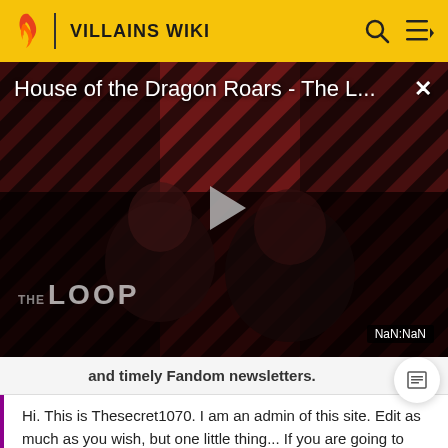VILLAINS WIKI
[Figure (screenshot): Video player showing 'House of the Dragon Roars - The L...' with THE LOOP watermark, a play button in the center, dark background with diagonal stripe pattern, and NaN:NaN timestamp badge]
and timely Fandom newsletters.
Hi. This is Thesecret1070. I am an admin of this site. Edit as much as you wish, but one little thing... If you are going to edit a lot, then make yourself a user and login. Other than that, enjoy Villains Wiki!!!